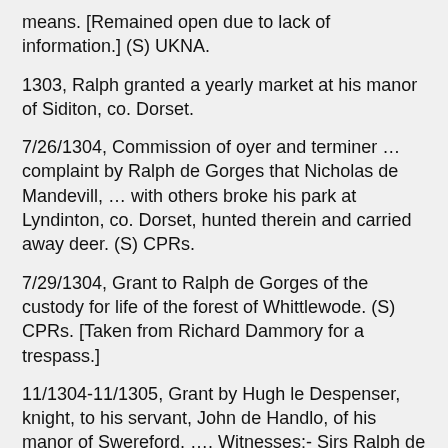means. [Remained open due to lack of information.] (S) UKNA.
1303, Ralph granted a yearly market at his manor of Siditon, co. Dorset.
7/26/1304, Commission of oyer and terminer … complaint by Ralph de Gorges that Nicholas de Mandevill, … with others broke his park at Lyndinton, co. Dorset, hunted therein and carried away deer. (S) CPRs.
7/29/1304, Grant to Ralph de Gorges of the custody for life of the forest of Whittlewode. (S) CPRs. [Taken from Richard Dammory for a trespass.]
11/1304-11/1305, Grant by Hugh le Despenser, knight, to his servant, John de Handlo, of his manor of Swereford, …. Witnesses:- Sirs Ralph de Gorges, …, knights, … (S) UKNA.